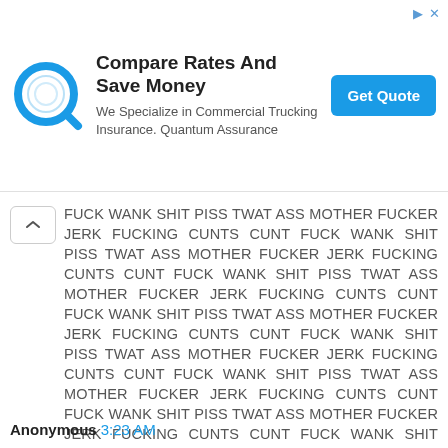[Figure (other): Advertisement banner: Quantum Assurance insurance ad with blue Q logo, headline 'Compare Rates And Save Money', subtext 'We Specialize in Commercial Trucking Insurance. Quantum Assurance', and a blue 'Get Quote' button.]
FUCK WANK SHIT PISS TWAT ASS MOTHER FUCKER JERK FUCKING CUNTS CUNT FUCK WANK SHIT PISS TWAT ASS MOTHER FUCKER JERK FUCKING CUNTS CUNT FUCK WANK SHIT PISS TWAT ASS MOTHER FUCKER JERK FUCKING CUNTS CUNT FUCK WANK SHIT PISS TWAT ASS MOTHER FUCKER JERK FUCKING CUNTS CUNT FUCK WANK SHIT PISS TWAT ASS MOTHER FUCKER JERK FUCKING CUNTS CUNT FUCK WANK SHIT PISS TWAT ASS MOTHER FUCKER JERK FUCKING CUNTS CUNT FUCK WANK SHIT PISS TWAT ASS MOTHER FUCKER JERK FUCKING CUNTS CUNT FUCK WANK SHIT PISS TWAT ASS MOTHER FUCKER JERK
Reply
Anonymous 3:23 AM